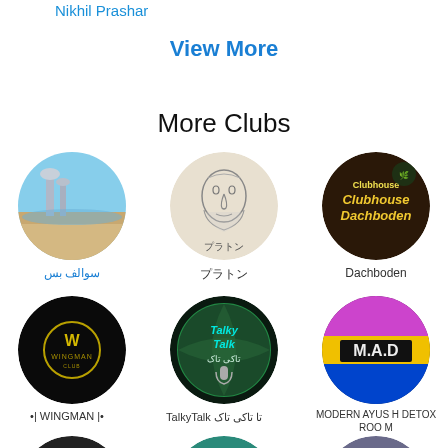Nikhil Prashar
View More
More Clubs
[Figure (illustration): Circular club icon showing Kuwait Towers on a beach]
سوالف بس
[Figure (illustration): Circular club icon with a sketch of a bearded man with Japanese text プラトン]
プラトン
[Figure (illustration): Circular club icon with neon text Clubhouse Dachboden on dark background]
Dachboden
[Figure (logo): Black circular icon with WINGMAN CLUB gold emblem]
•| WINGMAN |•
[Figure (illustration): Circular icon with globe and TalkyTalk تاکی تاک text]
TalkyTalk تا تاکی تاک
[Figure (illustration): Colorful circular icon with M.A.D text on neon background]
MODERN AYUSH DETOX ROOM
[Figure (photo): Partial circular club icon, dark, bottom row left]
[Figure (illustration): Partial circular club icon, teal, bottom row center]
[Figure (photo): Partial circular club icon, muted, bottom row right]